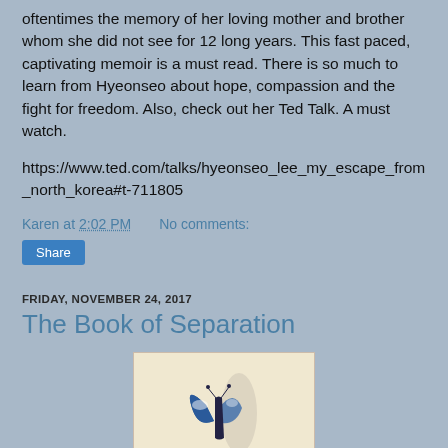oftentimes the memory of her loving mother and brother whom she did not see for 12 long years. This fast paced, captivating memoir is a must read. There is so much to learn from Hyeonseo about hope, compassion and the fight for freedom. Also, check out her Ted Talk. A must watch.
https://www.ted.com/talks/hyeonseo_lee_my_escape_from_north_korea#t-711805
Karen at 2:02 PM    No comments:
Share
FRIDAY, NOVEMBER 24, 2017
The Book of Separation
[Figure (photo): Book cover of The Book of Separation showing a blue butterfly against a light cream/yellow background]